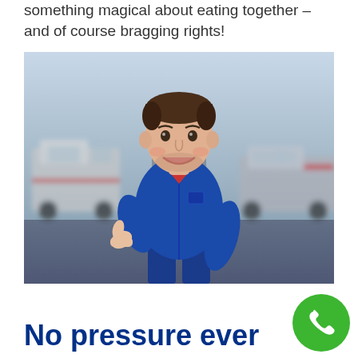something magical about eating together – and of course bragging rights!
[Figure (photo): Smiling male mechanic in a blue work uniform giving a thumbs up, standing in a car garage/workshop with vehicles in the blurred background.]
No pressure ever